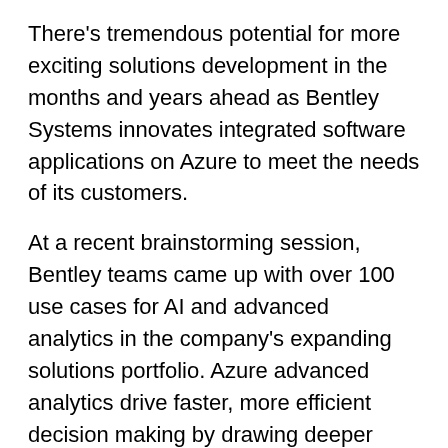There's tremendous potential for more exciting solutions development in the months and years ahead as Bentley Systems innovates integrated software applications on Azure to meet the needs of its customers.
At a recent brainstorming session, Bentley teams came up with over 100 use cases for AI and advanced analytics in the company's expanding solutions portfolio. Azure advanced analytics drive faster, more efficient decision making by drawing deeper insights from an organization's data and business processes.
The company is eager to increase activity and intensity of how they partner with Microsoft across all of its dimensions: co-developing, co-marketing, and co-selling. Important ongoing collaborations include:
Accelerating the adoption of ProjectWise 365,